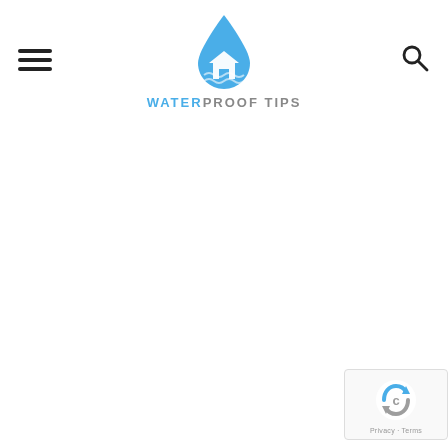[Figure (logo): Waterproof Tips website header with hamburger menu icon on left, blue water drop logo with house icon in center, search icon on right, and text WATERPROOF TIPS below the logo]
[Figure (other): Google reCAPTCHA badge in bottom right corner with circular arrow icon and Privacy - Terms links]